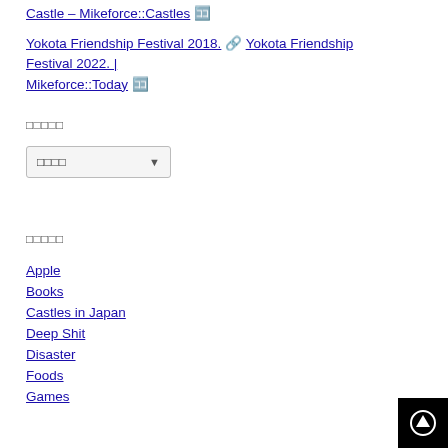Castle – Mikeforce::Castles 🈁
Yokota Friendship Festival 2018. 🔗 Yokota Friendship Festival 2022. | Mikeforce::Today 🈁
□□□□□
[Figure (screenshot): Dropdown selector with Japanese placeholder text □□□□]
□□□□□
Apple
Books
Castles in Japan
Deep Shit
Disaster
Foods
Games